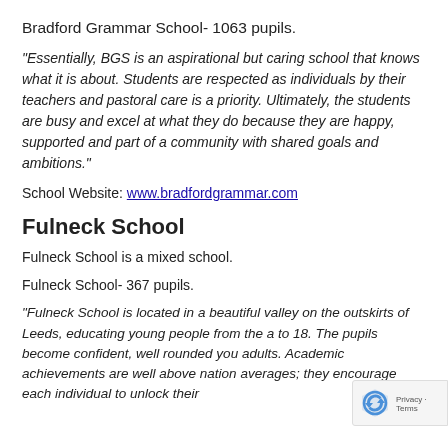Bradford Grammar School- 1063 pupils.
“Essentially, BGS is an aspirational but caring school that knows what it is about. Students are respected as individuals by their teachers and pastoral care is a priority. Ultimately, the students are busy and excel at what they do because they are happy, supported and part of a community with shared goals and ambitions.”
School Website: www.bradfordgrammar.com
Fulneck School
Fulneck School is a mixed school.
Fulneck School- 367 pupils.
“Fulneck School is located in a beautiful valley on the outskirts of Leeds, educating young people from the a… to 18. The pupils become confident, well rounded you… adults. Academic achievements are well above nation… averages; they encourage each individual to unlock their…